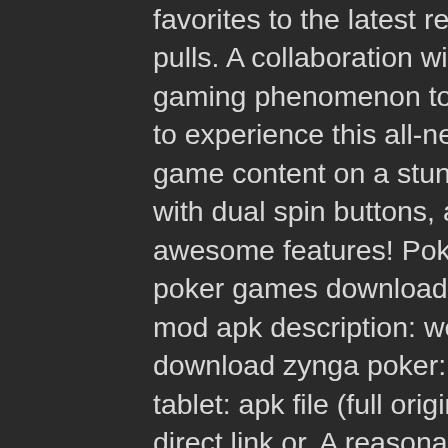favorites to the latest reels, from penny spins to $100 pulls. A collaboration with Zynga brings the social media gaming phenomenon to the casino floor. Be one of the first to experience this all-new slot machine with great original game content on a stunning 43-inch 4K Ultra HD display with dual spin buttons, a USB charger, and many more awesome features! Poker offline – free texas holdem poker games download for android latest version. Short mod apk description: welcome to our casino poker. Free download zynga poker: texas holdem for android phone or tablet: apk file (full original version of the game) via a direct link or. A reasonably good game for a freebie. Texas holdem poker 2 offers a simple 2d interface where you may play poker against other npc players. Free poker texas holdem card games get 1,000,000 free chips when you download! play the toughest card game – poker! take on the poker pros in